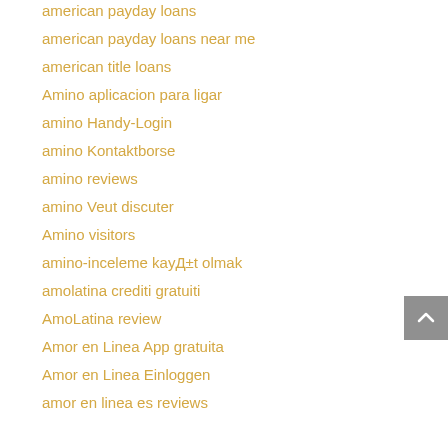american payday loans
american payday loans near me
american title loans
Amino aplicacion para ligar
amino Handy-Login
amino Kontaktborse
amino reviews
amino Veut discuter
Amino visitors
amino-inceleme kayД±t olmak
amolatina crediti gratuiti
AmoLatina review
Amor en Linea App gratuita
Amor en Linea Einloggen
amor en linea es reviews